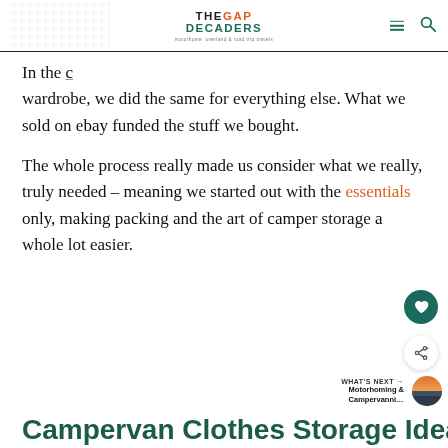THEGAP DECADERS — motorhome, overland & road trip travels
In the [wardrobe], we did the same for everything else. What we sold on ebay funded the stuff we bought.
The whole process really made us consider what we really, truly needed – meaning we started out with the essentials only, making packing and the art of camper storage a whole lot easier.
Campervan Clothes Storage Ideas